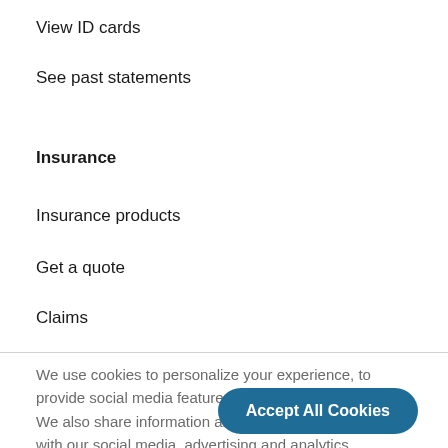View ID cards
See past statements
Insurance
Insurance products
Get a quote
Claims
We use cookies to personalize your experience, to provide social media features and to analyze our traffic. We also share information about your use of our site with our social media, advertising and analytics partners. Cookie Settings
Accept All Cookies